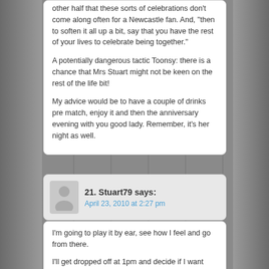other half that these sorts of celebrations don't come along often for a Newcastle fan. And, "then to soften it all up a bit, say that you have the rest of your lives to celebrate being together."

A potentially dangerous tactic Toonsy: there is a chance that Mrs Stuart might not be keen on the rest of the life bit!

My advice would be to have a couple of drinks pre match, enjoy it and then the anniversary evening with you good lady. Remember, it's her night as well.
21. Stuart79 says:
April 23, 2010 at 2:27 pm
I'm going to play it by ear, see how I feel and go from there.

I'll get dropped off at 1pm and decide if I want